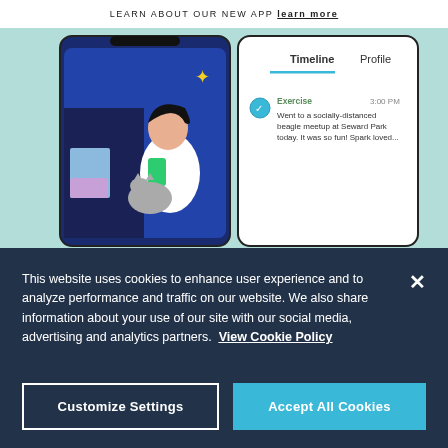LEARN ABOUT OUR NEW APP [link]
[Figure (screenshot): App screenshot showing a mobile app interface with Timeline and Profile tabs. Left side shows illustrated woman holding phone with cat. Right side shows a timeline entry: Exercise, 3:00 PM - Went to a socially-distanced beagle meetup at Seward Park today. It was so fun! Spark loved...]
[Figure (illustration): Blue radial sunburst background section with a partially visible diamond/logo icon]
This website uses cookies to enhance user experience and to analyze performance and traffic on our website. We also share information about your use of our site with our social media, advertising and analytics partners.  View Cookie Policy
Customize Settings
Accept All Cookies